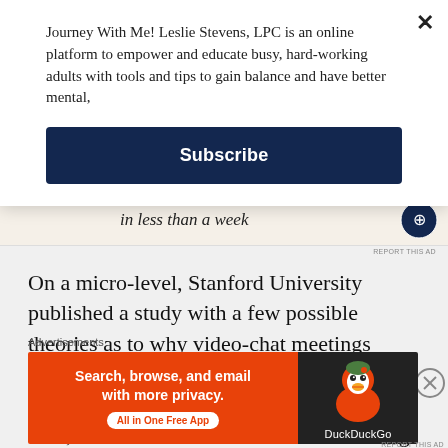Journey With Me! Leslie Stevens, LPC is an online platform to empower and educate busy, hard-working adults with tools and tips to gain balance and have better mental,
Subscribe
in less than a week
REPORT THIS AD
On a micro-level, Stanford University published a study with a few possible theories as to why video-chat meetings specifically can be so depleting: “Excessive amounts of close-up eye gaze, cognitive load, increased self-evaluation from staring at video of oneself, and constraints
Advertisements
[Figure (screenshot): DuckDuckGo advertisement: orange left section reading 'Search, browse, and email with more privacy. All in One Free App' with DuckDuckGo duck logo on dark right section]